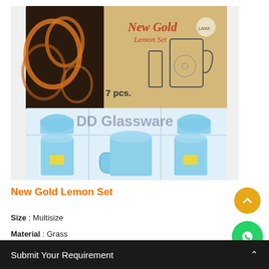[Figure (photo): Product photo of New Gold Lemon Set — a 7-piece glassware set in light blue, displayed in a clear plastic tray with a decorative box. The box reads 'New Gold Lemon Set' with '7 Pcs.' and a flower design. A watermark 'DD Glassware' overlays the image.]
New Gold Lemon Set
Size : Multisize
Material : Grass
Submit Your Requirement